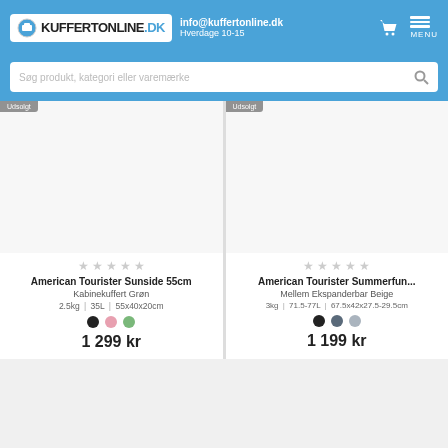info@kuffertonline.dk | Hverdage 10-15 | KUFFERTONLINE.DK
Søg produkt, kategori eller varemærke
[Figure (screenshot): Product card: American Tourister Sunside 55cm Kabinekuffert Grøn, 2.5kg, 35L, 55x40x20cm, 1 299 kr]
[Figure (screenshot): Product card: American Tourister Summerfun... Mellem Ekspanderbar Beige, 3kg, 71.5-77L, 67.5x42x27.5-29.5cm, 1 199 kr]